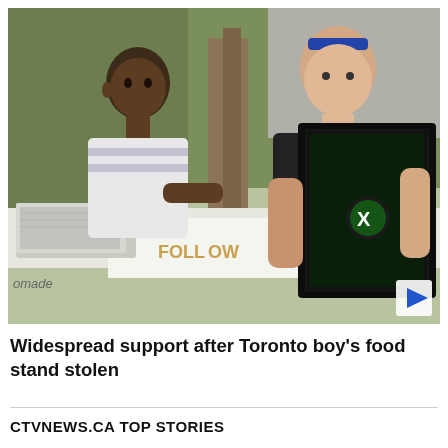[Figure (photo): A young Black boy sits behind a food stand table with foil trays and a sign reading 'homemade', while a bald tattooed man in a black polo shirt hands him a large Xbox Series X gaming console box. They are outdoors on a residential driveway. A play button triangle is visible in the lower right corner of the image, indicating this is a video thumbnail.]
Widespread support after Toronto boy's food stand stolen
CTVNEWS.CA TOP STORIES